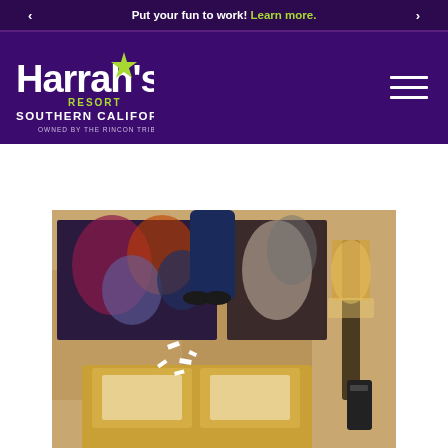Put your fun to work! Learn more.
[Figure (logo): Harrah's Resort Southern California logo — white text on deep purple background, green star accent, subtitle 'Owned by the Rincon Tribe']
[Figure (photo): Person jumping on a hotel bed, colorful artwork on wall behind, warm lighting, hotel room interior]